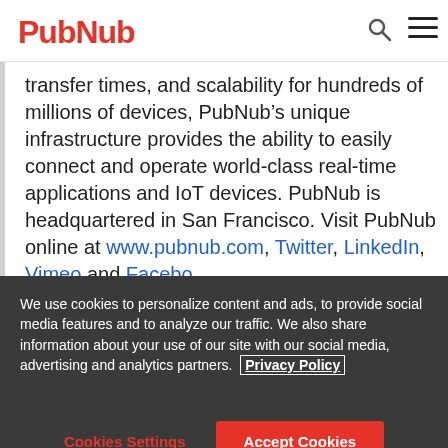PubNub
transfer times, and scalability for hundreds of millions of devices, PubNub’s unique infrastructure provides the ability to easily connect and operate world-class real-time applications and IoT devices. PubNub is headquartered in San Francisco. Visit PubNub online at www.pubnub.com, Twitter, LinkedIn, Vimeo and Facebook
We use cookies to personalize content and ads, to provide social media features and to analyze our traffic. We also share information about your use of our site with our social media, advertising and analytics partners. Privacy Policy
Cookies Settings   Accept Cookies